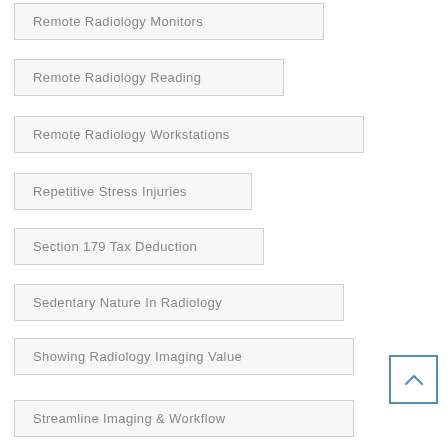Remote Radiology Monitors
Remote Radiology Reading
Remote Radiology Workstations
Repetitive Stress Injuries
Section 179 Tax Deduction
Sedentary Nature In Radiology
Showing Radiology Imaging Value
Streamline Imaging & Workflow